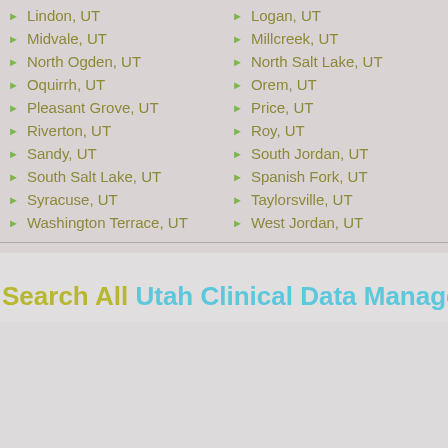Lindon, UT
Logan, UT
Midvale, UT
Millcreek, UT
North Ogden, UT
North Salt Lake, UT
Oquirrh, UT
Orem, UT
Pleasant Grove, UT
Price, UT
Riverton, UT
Roy, UT
Sandy, UT
South Jordan, UT
South Salt Lake, UT
Spanish Fork, UT
Syracuse, UT
Taylorsville, UT
Washington Terrace, UT
West Jordan, UT
Search All Utah Clinical Data Manageme